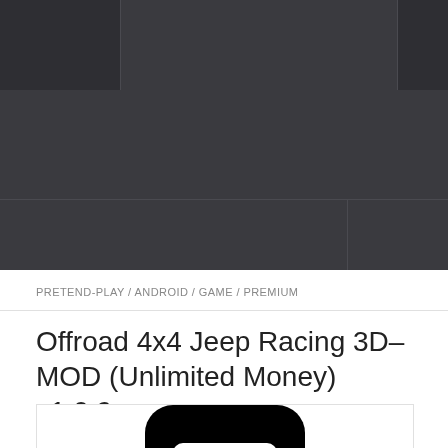[Figure (screenshot): Dark grey navigation/header bar area at the top of a website, divided into sections with slightly different shades of dark grey]
PRETEND-PLAY / ANDROID / GAME / PREMIUM
Offroad 4x4 Jeep Racing 3D–MOD (Unlimited Money) v1.0.9–
[Figure (logo): Black rounded square app icon with a white stylized controller or letter T shape in the center]